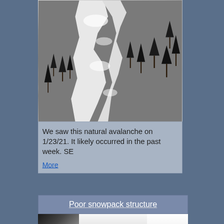[Figure (photo): Black and white aerial photograph of a mountain slope with a natural avalanche path visible through snow-covered evergreen trees]
We saw this natural avalanche on 1/23/21. It likely occurred in the past week. SE

More
Poor snowpack structure
[Figure (photo): Snow surface photograph showing poor snowpack structure with three panels]